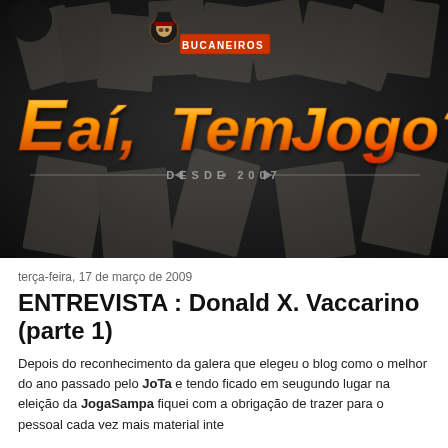[Figure (logo): E aí, Tem Jogo? blog logo with pirate icon and Bucaneiros badge, orange gradient stylized text on dark background with board game cards, 'DESDE 2007' subtitle]
terça-feira, 17 de março de 2009
ENTREVISTA : Donald X. Vaccarino (parte 1)
Depois do reconhecimento da galera que elegeu o blog como o melhor do ano passado pelo JoTa e tendo ficado em seugundo lugar na eleição da JogaSampa fiquei com a obrigação de trazer para o pessoal cada vez mais material interessante. Então, traz...